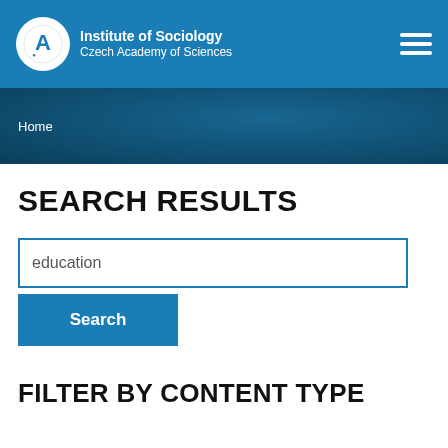[Figure (logo): Institute of Sociology Czech Academy of Sciences logo with navigation bar]
Home
SEARCH RESULTS
education
Search
FILTER BY CONTENT TYPE